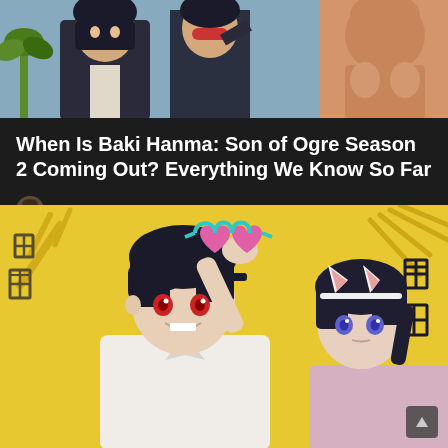[Figure (illustration): Top banner showing anime/manga characters - muscular fighting characters from Baki series]
When Is Baki Hanma: Son of Ogre Season 2 Coming Out? Everything We Know So Far
by Tayyab Shah  July 24, 2022, 10:02 am
[Figure (illustration): Anime illustration on yellow background showing two characters: a young man with dark hair holding up heart-shaped pink sunglasses with red eyes, smiling; and a girl with short dark hair wearing a cat ear headband with purple eyes, resting her chin on her hand]